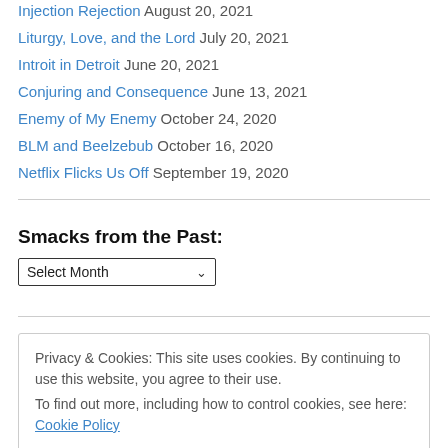Injection Rejection August 20, 2021
Liturgy, Love, and the Lord July 20, 2021
Introit in Detroit June 20, 2021
Conjuring and Consequence June 13, 2021
Enemy of My Enemy October 24, 2020
BLM and Beelzebub October 16, 2020
Netflix Flicks Us Off September 19, 2020
Smacks from the Past:
Select Month
Privacy & Cookies: This site uses cookies. By continuing to use this website, you agree to their use.
To find out more, including how to control cookies, see here: Cookie Policy
Close and accept